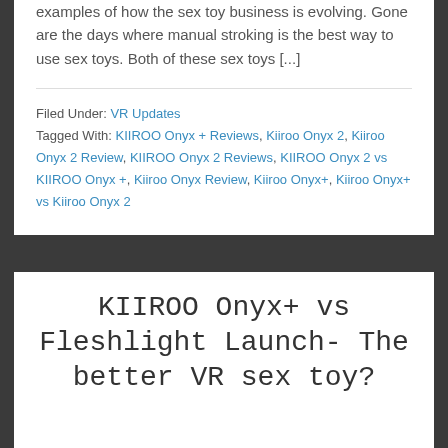examples of how the sex toy business is evolving. Gone are the days where manual stroking is the best way to use sex toys. Both of these sex toys [...]
Filed Under: VR Updates
Tagged With: KIIROO Onyx + Reviews, Kiiroo Onyx 2, Kiiroo Onyx 2 Review, KIIROO Onyx 2 Reviews, KIIROO Onyx 2 vs KIIROO Onyx +, Kiiroo Onyx Review, Kiiroo Onyx+, Kiiroo Onyx+ vs Kiiroo Onyx 2
KIIROO Onyx+ vs Fleshlight Launch- The better VR sex toy?